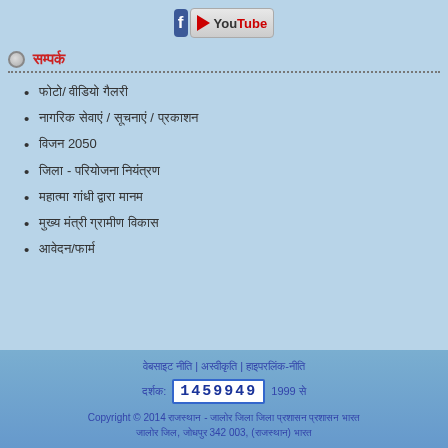[Figure (logo): Facebook and YouTube social media icons/logos]
सम्पर्क
फोटो/ वीडियो गैलरी
नागरिक सेवाएँ / सूचनाएं / प्रकाशन
विजन 2050
जिला - परियोजना नियंत्रण
महात्मा गाँधी – राष्ट्रीय ग्राम
मुख्य मंत्री ग्रामीण विकास
आवेदन/फॉर्म
वेबसाइट नीति | अस्वीकरण | हाइपरलिंक-नीति
दर्शक: 1459949 1999 से
Copyright © 2014 राजस्थान - जालोर जिला जिला प्रशासन प्रशासन भारत
जालोर जिल, जोधपुर 342 003, (राजस्थान) भारत